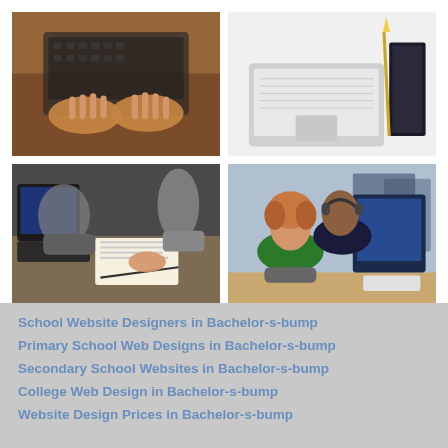[Figure (photo): Hands typing on a laptop keyboard on a wooden desk]
[Figure (photo): Laptop and notebook on a clean white desk]
[Figure (photo): People collaborating with laptops and writing on paper]
[Figure (photo): Students viewing screens in a classroom or computer lab]
School Website Designers in Bachelor-s-bump
Primary School Web Designs in Bachelor-s-bump
Secondary School Websites in Bachelor-s-bump
College Web Design in Bachelor-s-bump
Website Design Prices in Bachelor-s-bump